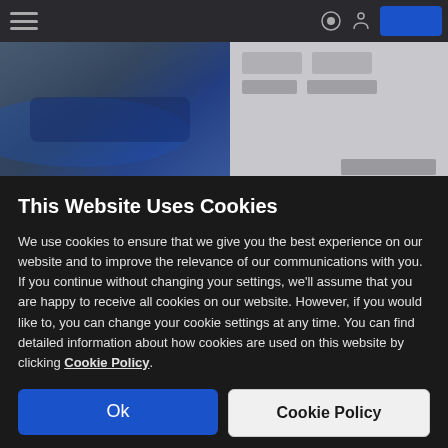[Figure (screenshot): Blurred website background showing a dark navigation bar at top, a car listing thumbnail on the left with a blue vehicle, and a grey info panel on the right with blurred price and label text.]
This Website Uses Cookies
We use cookies to ensure that we give you the best experience on our website and to improve the relevance of our communications with you. If you continue without changing your settings, we'll assume that you are happy to receive all cookies on our website. However, if you would like to, you can change your cookie settings at any time. You can find detailed information about how cookies are used on this website by clicking Cookie Policy.
Ok
Cookie Policy